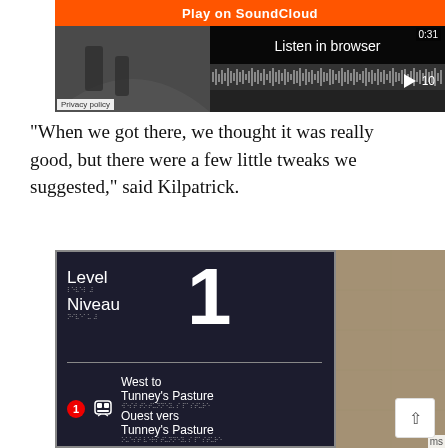[Figure (screenshot): SoundCloud embedded player widget showing 'Play on SoundCloud' orange bar, 'Listen in browser' button, waveform, timestamp 0:31, play button, and track number 10. Background shows people walking in a corridor.]
“When we got there, we thought it was really good, but there were a few little tweaks we suggested,” said Kilpatrick.
[Figure (photo): Photo of a transit station wayfinding sign on a dark background. The sign reads: Level / Niveau with braille text and a large number 1. Below a divider: circle with 1, train icon, West to Tunney’s Pasture in English and French (Ouest vers Tunney’s Pasture) with braille text. Right side shows beige stone wall of the station.]